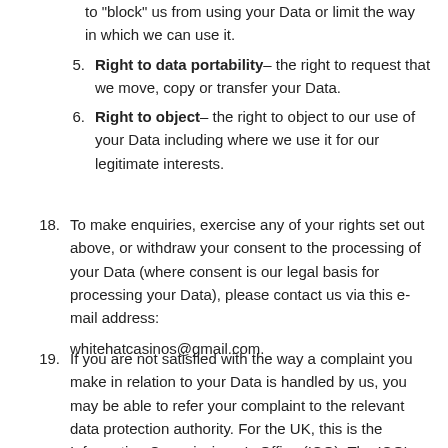to "block" us from using your Data or limit the way in which we can use it.
Right to data portability– the right to request that we move, copy or transfer your Data.
Right to object– the right to object to our use of your Data including where we use it for our legitimate interests.
18. To make enquiries, exercise any of your rights set out above, or withdraw your consent to the processing of your Data (where consent is our legal basis for processing your Data), please contact us via this e-mail address: whitehatcasinos@gmail.com.
19. If you are not satisfied with the way a complaint you make in relation to your Data is handled by us, you may be able to refer your complaint to the relevant data protection authority. For the UK, this is the Information Commissioner's Office (ICO). The ICO's contact details can be found on their website.